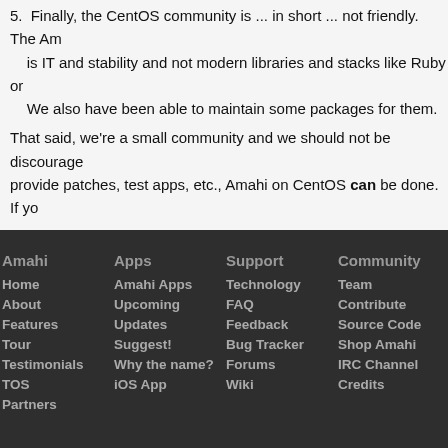5. Finally, the CentOS community is ... in short ... not friendly. The Am is IT and stability and not modern libraries and stacks like Ruby or We also have been able to maintain some packages for them.
That said, we're a small community and we should not be discourage provide patches, test apps, etc., Amahi on CentOS can be done. If yo
Amahi | Apps | Support | Community
Home | Amahi Apps | Technology | Team
About | Upcoming | FAQ | Contribute
Features | Updates | Feedback | Source Code
Tour | Suggest! | Bug Tracker | Shop Amahi
Testimonials | Why the name? | Forums | IRC Channel
TOS | iOS App | Wiki | Credits
Partners